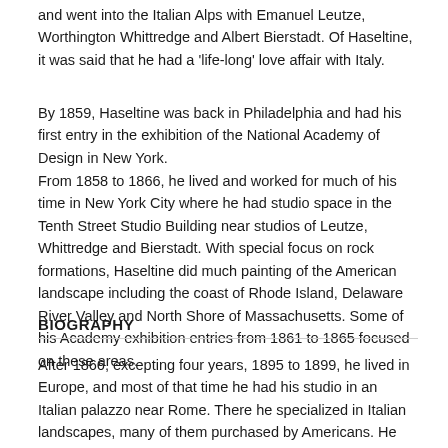and went into the Italian Alps with Emanuel Leutze, Worthington Whittredge and Albert Bierstadt. Of Haseltine, it was said that he had a 'life-long' love affair with Italy.
By 1859, Haseltine was back in Philadelphia and had his first entry in the exhibition of the National Academy of Design in New York.
From 1858 to 1866, he lived and worked for much of his time in New York City where he had studio space in the Tenth Street Studio Building near studios of Leutze, Whittredge and Bierstadt. With special focus on rock formations, Haseltine did much painting of the American landscape including the coast of Rhode Island, Delaware River Valley and North Shore of Massachusetts. Some of his Academy exhibition entries from 1861 to 1865 focused on these areas.
BIOGRAPHY
After 1866, excepting four years, 1895 to 1899, he lived in Europe, and most of that time he had his studio in an Italian palazzo near Rome. There he specialized in Italian landscapes, many of them purchased by Americans. He also painted in Barbizon, showing a number of works at the Paris Salon. In